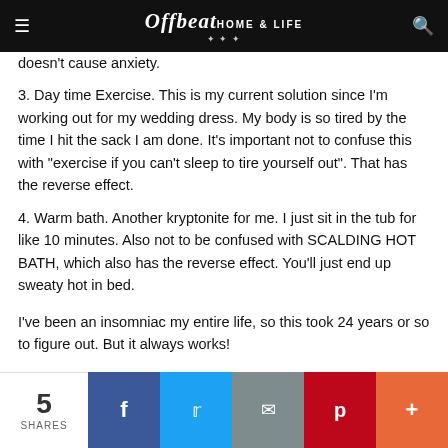Offbeat HOME & LIFE
doesn't cause anxiety.
3. Day time Exercise. This is my current solution since I'm working out for my wedding dress. My body is so tired by the time I hit the sack I am done. It's important not to confuse this with "exercise if you can't sleep to tire yourself out". That has the reverse effect.
4. Warm bath. Another kryptonite for me. I just sit in the tub for like 10 minutes. Also not to be confused with SCALDING HOT BATH, which also has the reverse effect. You'll just end up sweaty hot in bed.
I've been an insomniac my entire life, so this took 24 years or so to figure out. But it always works!
5 SHARES | Facebook | Twitter | Email | Pinterest | More